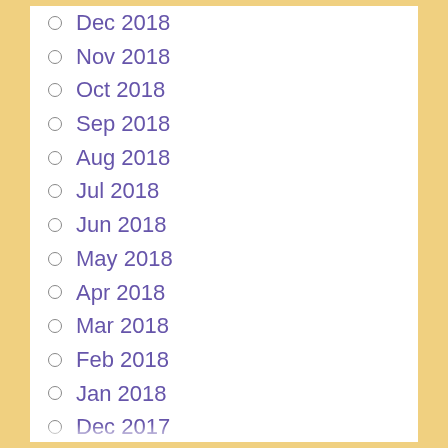Dec 2018
Nov 2018
Oct 2018
Sep 2018
Aug 2018
Jul 2018
Jun 2018
May 2018
Apr 2018
Mar 2018
Feb 2018
Jan 2018
Dec 2017
Nov 2017
Oct 2017
Sep 2017